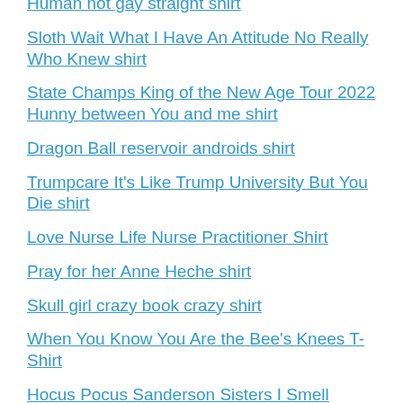Human not gay straight shirt
Sloth Wait What I Have An Attitude No Really Who Knew shirt
State Champs King of the New Age Tour 2022 Hunny between You and me shirt
Dragon Ball reservoir androids shirt
Trumpcare It's Like Trump University But You Die shirt
Love Nurse Life Nurse Practitioner Shirt
Pray for her Anne Heche shirt
Skull girl crazy book crazy shirt
When You Know You Are the Bee's Knees T-Shirt
Hocus Pocus Sanderson Sisters I Smell Children Halloween Shirt